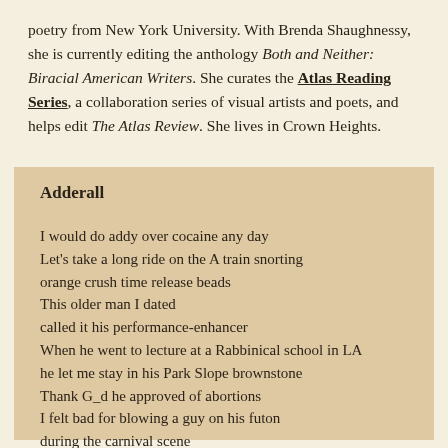poetry from New York University. With Brenda Shaughnessy, she is currently editing the anthology Both and Neither: Biracial American Writers. She curates the Atlas Reading Series, a collaboration series of visual artists and poets, and helps edit The Atlas Review. She lives in Crown Heights.
Adderall
I would do addy over cocaine any day
Let's take a long ride on the A train snorting
orange crush time release beads
This older man I dated
called it his performance-enhancer
When he went to lecture at a Rabbinical school in LA
he let me stay in his Park Slope brownstone
Thank G_d he approved of abortions
I felt bad for blowing a guy on his futon
during the carnival scene
of The Third Man
I'm too young to manage a full-time sugar daddy
I never saw an amphetamine I didn't like
Who should I leave this with, i...